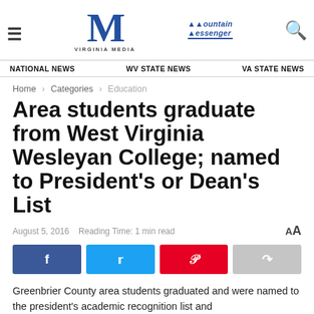Mountain Messenger — Virginia Media
NATIONAL NEWS   WV STATE NEWS   VA STATE NEWS
Home > Categories > Education
Area students graduate from West Virginia Wesleyan College; named to President's or Dean's List
August 5, 2016   Reading Time: 1 min read
Greenbrier County area students graduated and were named to the president's academic recognition list and